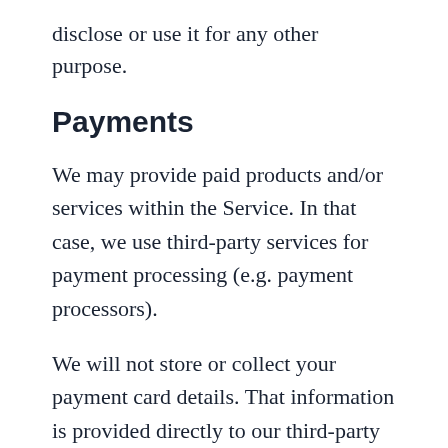disclose or use it for any other purpose.
Payments
We may provide paid products and/or services within the Service. In that case, we use third-party services for payment processing (e.g. payment processors).
We will not store or collect your payment card details. That information is provided directly to our third-party payment processors whose use of your personal information is governed by their Privacy Policy. These payment processors adhere